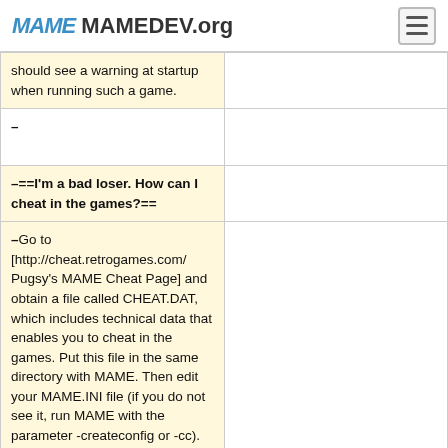MAMEDEV.org
| should see a warning at startup when running such a game. |  |
| – |  |
| –==I'm a bad loser. How can I cheat in the games?== |  |
| –Go to [http://cheat.retrogames.com/ Pugsy's MAME Cheat Page] and obtain a file called CHEAT.DAT, which includes technical data that enables you to cheat in the games. Put this file in the same directory with MAME. Then edit your MAME.INI file (if you do not see it, run MAME with the parameter -createconfig or -cc). Change the line that says |  |